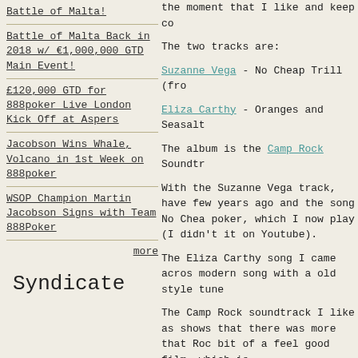Battle of Malta!
Battle of Malta Back in 2018 w/ €1,000,000 GTD Main Event!
£120,000 GTD for 888poker Live London Kick Off at Aspers
Jacobson Wins Whale, Volcano in 1st Week on 888poker
WSOP Champion Martin Jacobson Signs with Team 888Poker
more
Syndicate
the moment that I like and keep co
The two tracks are:
Suzanne Vega - No Cheap Trill (fro
Eliza Carthy - Oranges and Seasalt
The album is the Camp Rock Soundtr
With the Suzanne Vega track, have few years ago and the song No Chea poker, which I now play (I didn't it on Youtube).
The Eliza Carthy song I came acros modern song with a old style tune
The Camp Rock soundtrack I like as shows that there was more that Roc bit of a feel good film, which is